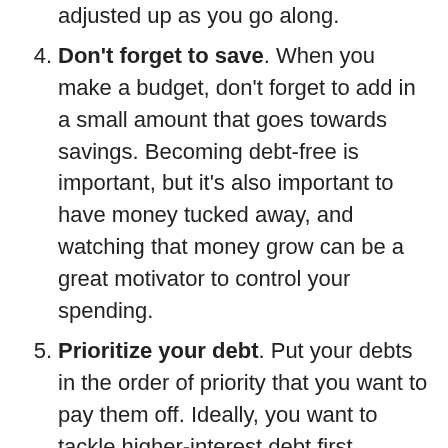adjusted up as you go along.
Don't forget to save. When you make a budget, don't forget to add in a small amount that goes towards savings. Becoming debt-free is important, but it's also important to have money tucked away, and watching that money grow can be a great motivator to control your spending.
Prioritize your debt. Put your debts in the order of priority that you want to pay them off. Ideally, you want to tackle higher-interest debt first, because it will cost you less in the long run. Another tactic is to pay off the lower amounts first and pay the